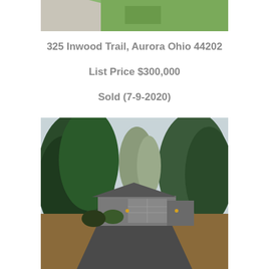[Figure (photo): Aerial view of a lawn with green grass and a driveway/path visible at top of page]
325 Inwood Trail, Aurora Ohio 44202
List Price $300,000
Sold (7-9-2020)
[Figure (photo): Front exterior of a single-story ranch home with large garage, surrounded by tall evergreen trees and a wide asphalt driveway]